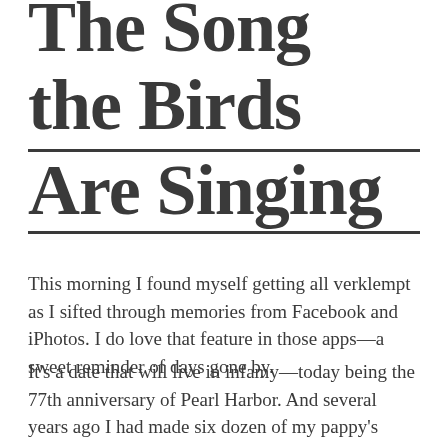The Song the Birds Are Singing
This morning I found myself getting all verklempt as I sifted through memories from Facebook and iPhotos. I do love that feature in those apps—a sweet reminder of days gone by.
It's a date that will live in infamy—today being the 77th anniversary of Pearl Harbor. And several years ago I had made six dozen of my pappy's chocolate peanut butter chip cookies